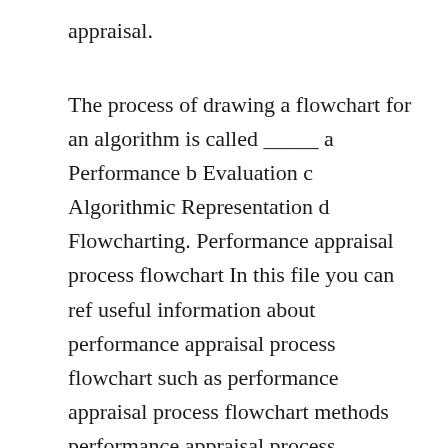appraisal.
The process of drawing a flowchart for an algorithm is called _____ a Performance b Evaluation c Algorithmic Representation d Flowcharting. Performance appraisal process flowchart In this file you can ref useful information about performance appraisal process flowchart such as performance appraisal process flowchart methods performance appraisal process flowchart tips performance appraisal process flowchart forms performance appraisal process. To calculate PPN a meet-ing is scheduled In PPN